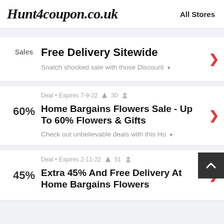Hunt4coupon.co.uk    All Stores
Sales | Free Delivery Sitewide | Snatch shocked sale with those Discount
Deal • Expires 7-9-22  30 | 60% | Home Bargains Flowers Sale - Up To 60% Flowers & Gifts | Check out unbelievable deals with this Ho
Deal • Expires 2-11-22  51 | 45% | Extra 45% And Free Delivery At Home Bargains Flowers